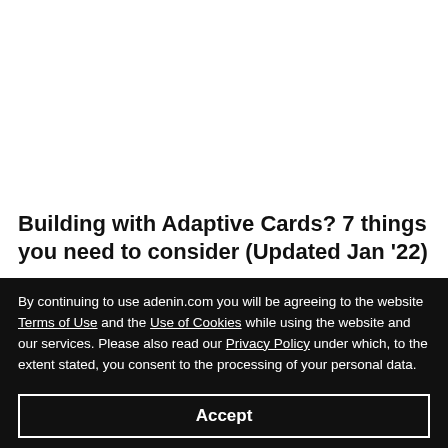Building with Adaptive Cards? 7 things you need to consider (Updated Jan '22)
By continuing to use adenin.com you will be agreeing to the website Terms of Use and the Use of Cookies while using the website and our services. Please also read our Privacy Policy under which, to the extent stated, you consent to the processing of your personal data.
Accept